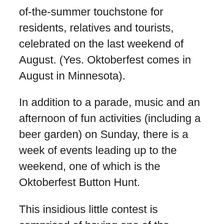of-the-summer touchstone for residents, relatives and tourists, celebrated on the last weekend of August. (Yes. Oktoberfest comes in August in Minnesota).
In addition to a parade, music and an afternoon of fun activities (including a beer garden) on Sunday, there is a week of events leading up to the weekend, one of which is the Oktoberfest Button Hunt.
This insidious little contest is comprised of having one of the Oktoberfest Poobahs hiding a specially marked Oktobefest button somewhere in the City of Pierz. Clues are given to the whereabouts of said button each day throughout the week. The rules are simple; the specially marked button is hidden on public property, no climbing to reach it, not near the river or on the golf course. In other words, don’t be an idiot, be respectful of private property